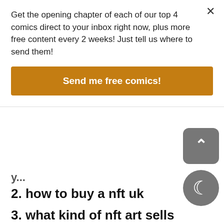Get the opening chapter of each of our top 4 comics direct to your inbox right now, plus more free content every 2 weeks! Just tell us where to send them!
Send me free comics!
2. how to buy a nft uk
3. what kind of nft art sells
How do you make an nft artwork check out one of a kind NFTs & NFT packs from Barstool Sports, Gene Composer enables researchers to perform all common bio-informatics steps used in modern structure guided protein engineering and